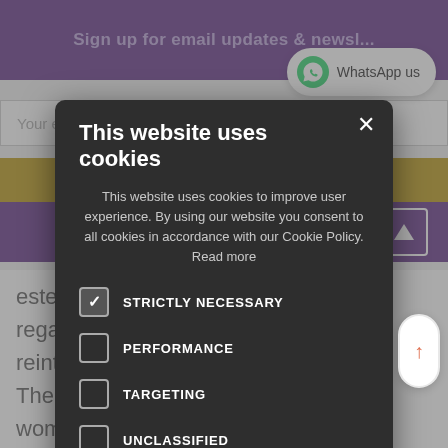Sign up for email updates & newsletters
WhatsApp us
Your email
[Figure (screenshot): Cookie consent modal dialog on a purple-themed website. The modal has a dark background and contains the title 'This website uses cookies', a description about cookie policy, four cookie category checkboxes (STRICTLY NECESSARY checked, PERFORMANCE, TARGETING, UNCLASSIFIED unchecked), and an ACCEPT ALL green button. Background shows website header with purple color, email signup, and partial article text.]
This website uses cookies
This website uses cookies to improve user experience. By using our website you consent to all cookies in accordance with our Cookie Policy. Read more
STRICTLY NECESSARY
PERFORMANCE
TARGETING
UNCLASSIFIED
ACCEPT ALL
Many individuals experiencing these problems are